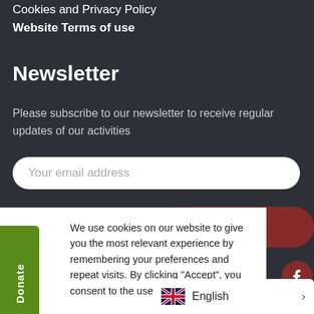Cookies and Privacy Policy
Website Terms of use
Newsletter
Please subscribe to our newsletter to receive regular updates of our activities
Your email address
We use cookies on our website to give you the most relevant experience by remembering your preferences and repeat visits. By clicking "Accept", you consent to the use of ALL the cookies.
Cookie settings
ACCEPT
Donate
English